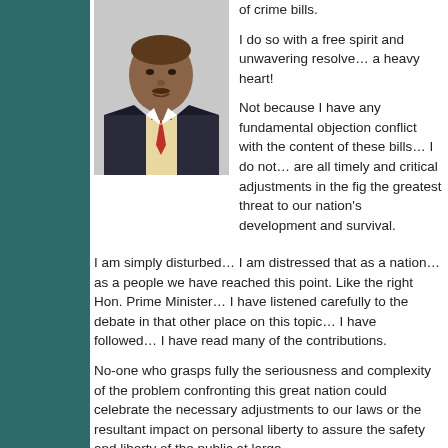[Figure (photo): Headshot portrait of a man in a suit with a tie]
of crime bills.

I do so with a free spirit and unwavering resolve... a heavy heart!

Not because I have any fundamental objection conflict with the content of these bills… I do not… are all timely and critical adjustments in the fig the greatest threat to our nation's development and survival.
I am simply disturbed… I am distressed that as a nation… as a people we have reached this point. Like the right Hon. Prime Minister… I have listened carefully to the debate in that other place on this topic… I have followed… I have read many of the contributions.
No-one who grasps fully the seriousness and complexity of the problem confronting this great nation could celebrate the necessary adjustments to our laws or the resultant impact on personal liberty to assure the safety and liberty of the public at large.
We are at a place… a dark place in national and international history… where acts committed by individuals often threaten society as a whole and… are now becoming more a norm than an exception.
In the past… the rights of the individual were threatened by prevailing prejudices, racial and economic discrimination, nepotism, ethnoce…